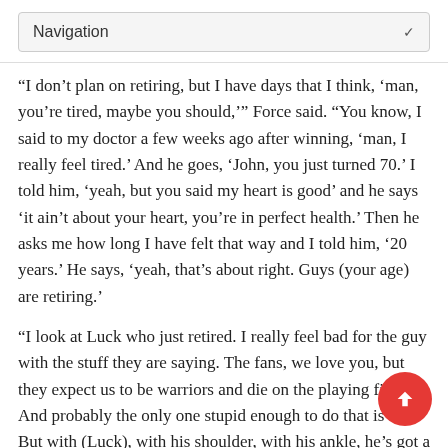Navigation
“I don’t plan on retiring, but I have days that I think, ‘man, you’re tired, maybe you should,’” Force said. “You know, I said to my doctor a few weeks ago after winning, ‘man, I really feel tired.’ And he goes, ‘John, you just turned 70.’ I told him, ‘yeah, but you said my heart is good’ and he says ‘it ain’t about your heart, you’re in perfect health.’ Then he asks me how long I have felt that way and I told him, ‘20 years.’ He says, ‘yeah, that’s about right. Guys (your age) are retiring.’
“I look at Luck who just retired. I really feel bad for the guy with the stuff they are saying. The fans, we love you, but they expect us to be warriors and die on the playing field. And probably the only one stupid enough to do that is me. But with (Luck), with his shoulder, with his ankle, he’s got a new baby on the way. He’s got the rest of his life. When I was his age, I was just starting. But to be told at that age that if you get hit in the leg by one of these 300-pound freight trains you ain’t going to walk again? You’ve got to think about stuff like that.